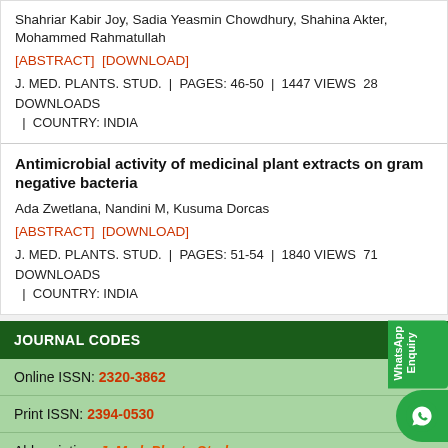Shahriar Kabir Joy, Sadia Yeasmin Chowdhury, Shahina Akter, Mohammed Rahmatullah
[ABSTRACT]  [DOWNLOAD]
J. MED. PLANTS. STUD.  |  PAGES: 46-50  |  1447 VIEWS  28 DOWNLOADS  |  COUNTRY: INDIA
Antimicrobial activity of medicinal plant extracts on gram negative bacteria
Ada Zwetlana, Nandini M, Kusuma Dorcas
[ABSTRACT]  [DOWNLOAD]
J. MED. PLANTS. STUD.  |  PAGES: 51-54  |  1840 VIEWS  71 DOWNLOADS  |  COUNTRY: INDIA
JOURNAL CODES
Online ISSN: 2320-3862
Print ISSN: 2394-0530
Abbreviation: J. Med. Plants Stud.
ISSUE MENU
Past Issue